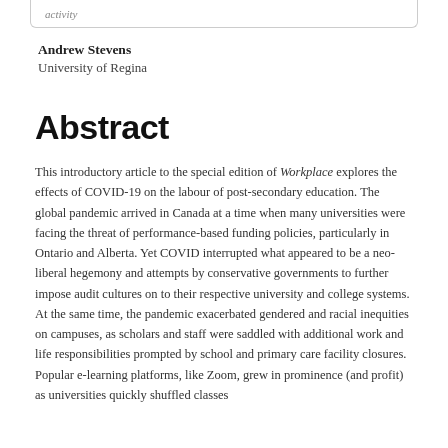activity
Andrew Stevens
University of Regina
Abstract
This introductory article to the special edition of Workplace explores the effects of COVID-19 on the labour of post-secondary education. The global pandemic arrived in Canada at a time when many universities were facing the threat of performance-based funding policies, particularly in Ontario and Alberta. Yet COVID interrupted what appeared to be a neo-liberal hegemony and attempts by conservative governments to further impose audit cultures on to their respective university and college systems. At the same time, the pandemic exacerbated gendered and racial inequities on campuses, as scholars and staff were saddled with additional work and life responsibilities prompted by school and primary care facility closures. Popular e-learning platforms, like Zoom, grew in prominence (and profit) as universities quickly shuffled classes